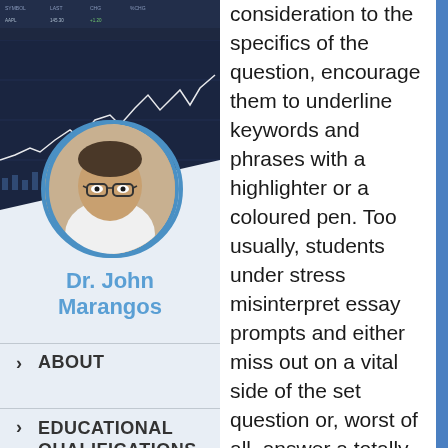[Figure (photo): Profile photo of Dr. John Marangos, a middle-aged man wearing glasses and a white shirt, in a circular frame with blue border. Background shows a stock market trading screen with charts.]
Dr. John Marangos
ABOUT
EDUCATIONAL QUALIFICATIONS
consideration to the specifics of the question, encourage them to underline keywords and phrases with a highlighter or a coloured pen. Too usually, students under stress misinterpret essay prompts and either miss out on a vital side of the set question or, worst of all, answer a totally completely